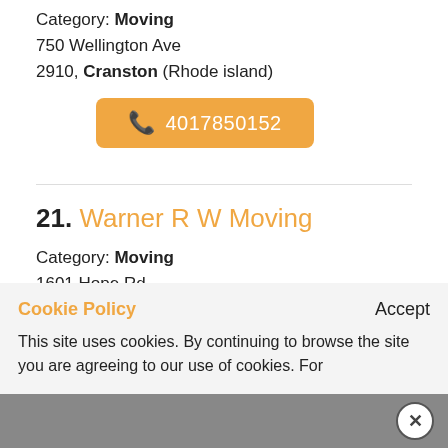Category: Moving
750 Wellington Ave
2910, Cranston (Rhode island)
4017850152
21. Warner R W Moving
Category: Moving
1601 Hope Rd
Cookie Policy — Accept
This site uses cookies. By continuing to browse the site you are agreeing to our use of cookies. For more details review our Cookie Policy